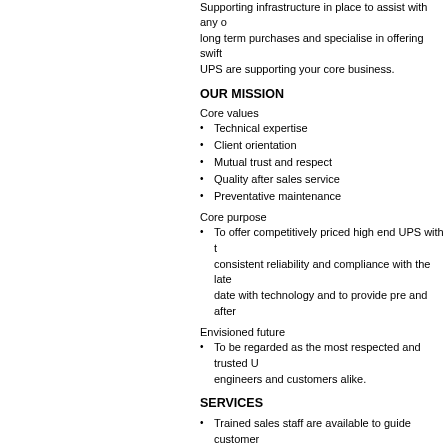Supporting infrastructure in place to assist with any of these long term purchases and specialise in offering swift UPS are supporting your core business.
OUR MISSION
Core values
Technical expertise
Client orientation
Mutual trust and respect
Quality after sales service
Preventative maintenance
Core purpose
To offer competitively priced high end UPS with consistent reliability and compliance with the late date with technology and to provide pre and after
Envisioned future
To be regarded as the most respected and trusted U engineers and customers alike.
SERVICES
Trained sales staff are available to guide customer
24 hour technical support and full spares kits held
A fully equipped workshop where repairs to small
Preventative maintenance schedules or contracts c
In-house training and hands on end users training
We have standardised on Fluke instrumentations to maintained.
All test equipment is calibrated annually.
Documented procedures for new installations and maintenance to ensure that the client can be sure o Digital Energy.